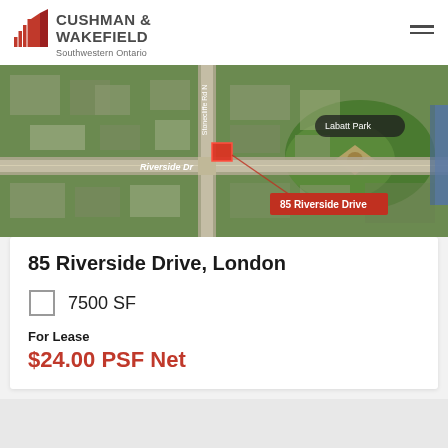CUSHMAN & WAKEFIELD Southwestern Ontario
[Figure (map): Aerial satellite map showing 85 Riverside Drive, London, Ontario near Labatt Park and Riverside Dr intersection. Property highlighted with red marker.]
85 Riverside Drive, London
7500 SF
For Lease
$24.00 PSF Net